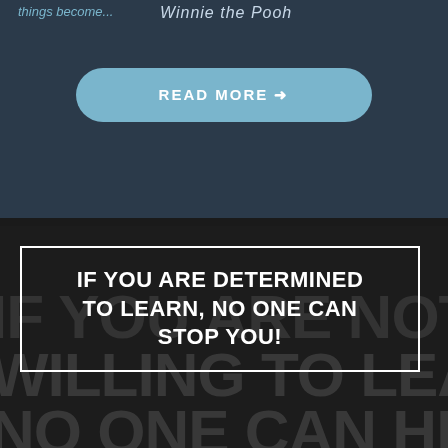things become... Winnie the Pooh
[Figure (other): READ MORE button with arrow, light blue rounded rectangle on dark blue-grey background]
[Figure (infographic): Motivational quote overlaid on dark background with large semi-transparent text. Quote reads: IF YOU ARE DETERMINED TO LEARN, NO ONE CAN STOP YOU! Background text reads: IF YOU ARE NOT WILLING TO LEARN, NO ONE CAN HELP YOU.]